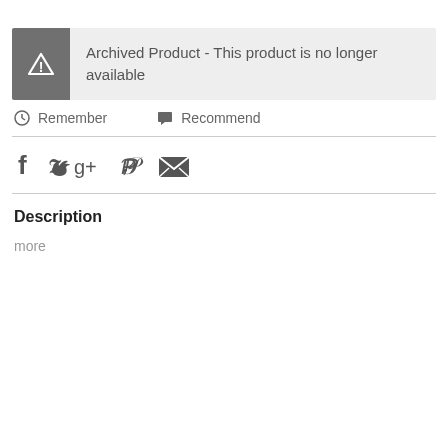Archived Product - This product is no longer available
Remember   Recommend
[Figure (infographic): Social share icons: Facebook, Twitter, Google+, Pinterest, Email]
Description
more